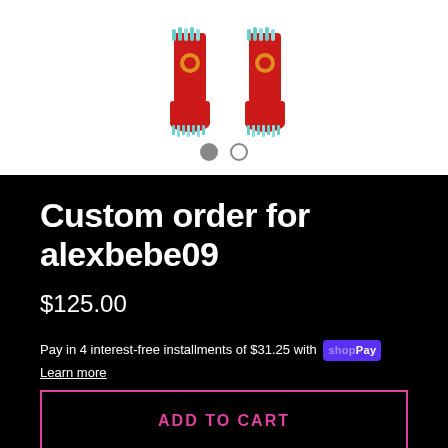[Figure (photo): Product image showing red decorative boots with turquoise/blue floral accents on a white background, with two dot navigation indicators below]
Custom order for alexbebe09
$125.00
Pay in 4 interest-free installments of $31.25 with Shop Pay
Learn more
ADD TO CART